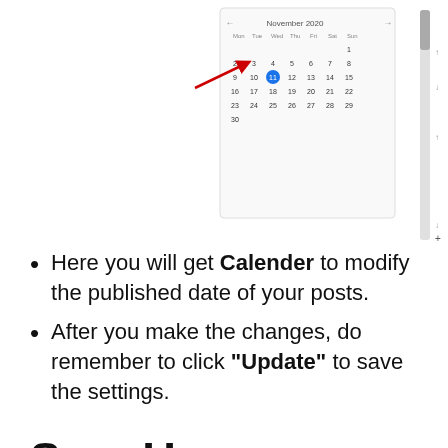[Figure (screenshot): Screenshot of a WordPress calendar widget showing November 2020, with a red arrow pointing to a date near the top-left of the calendar grid. The 11th is highlighted with a blue circle. A scrollbar is visible on the right side.]
Here you will get Calender to modify the published date of your posts.
After you make the changes, do remember to click "Update" to save the settings.
Sum Up
That's it, we hope you learned How to Change Publish Date in WordPress easily. And for the visitor who